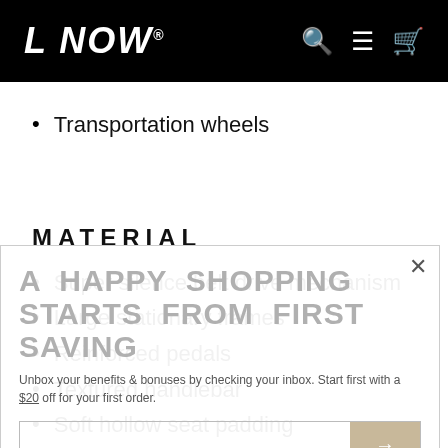L NOW®
Transportation wheels
MATERIAL
Super silence belt drive mechanism
Large stationary frames
Reinforced pedals
Textured handlebar
Soft hollow seat padding
[Figure (screenshot): Popup overlay with text: A HAPPY SHOPPING STARTS FROM FIRST SAVING. Unbox your benefits & bonuses by checking your inbox. Start first with a $20 off for your first order. Email input with arrow button.]